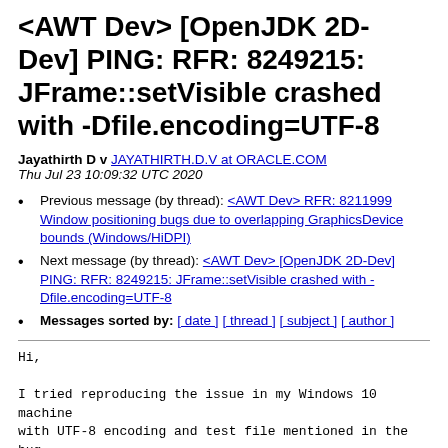<AWT Dev> [OpenJDK 2D-Dev] PING: RFR: 8249215: JFrame::setVisible crashed with -Dfile.encoding=UTF-8
Jayathirth D v JAYATHIRTH.D.V at ORACLE.COM
Thu Jul 23 10:09:32 UTC 2020
Previous message (by thread): <AWT Dev> RFR: 8211999 Window positioning bugs due to overlapping GraphicsDevice bounds (Windows/HiDPI)
Next message (by thread): <AWT Dev> [OpenJDK 2D-Dev] PING: RFR: 8249215: JFrame::setVisible crashed with -Dfile.encoding=UTF-8
Messages sorted by: [ date ] [ thread ] [ subject ] [ author ]
Hi,
I tried reproducing the issue in my Windows 10 machine with UTF-8 encoding and test file mentioned in the bug,